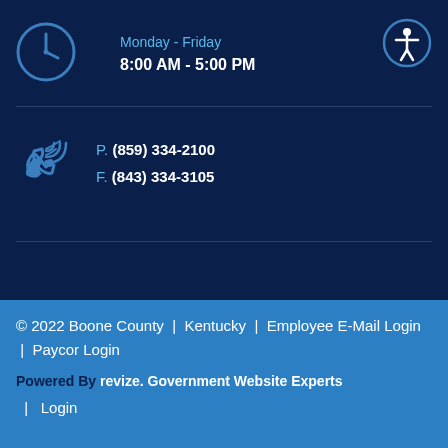Monday - Friday
8:00 AM - 5:00 PM
P: (859) 334-2100
F: (843) 334-3105
© 2022 Boone County | Kentucky | Employee E-Mail Login | Paycor Login
Powered By revize. Government Website Experts | Login